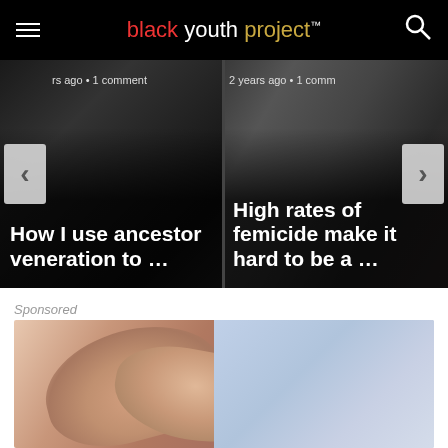black youth project™
[Figure (screenshot): Carousel card 1: Black and white photo background with text overlay. Meta: 'rs ago • 1 comment'. Title: 'How I use ancestor veneration to …']
[Figure (screenshot): Carousel card 2: Color photo of protest with signs background. Meta: '2 years ago • 1 comm'. Title: 'High rates of femicide make it hard to be a …']
Sponsored
[Figure (photo): Sponsored content image showing two hands holding each other, one younger and one older, with light blue/purple background.]